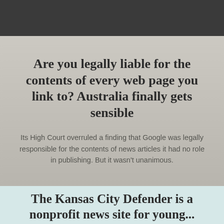Are you legally liable for the contents of every web page you link to? Australia finally gets sensible
Its High Court overruled a finding that Google was legally responsible for the contents of news articles it had no role in publishing. But it wasn't unanimous.
The Kansas City Defender is a nonprofit news site for young...